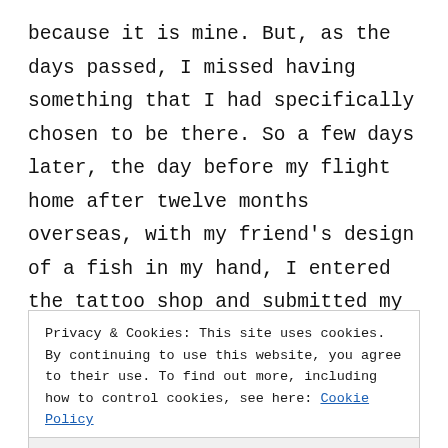because it is mine. But, as the days passed, I missed having something that I had specifically chosen to be there. So a few days later, the day before my flight home after twelve months overseas, with my friend's design of a fish in my hand, I entered the tattoo shop and submitted my body to a needle, potential parental and religious disappointment and most
Privacy & Cookies: This site uses cookies. By continuing to use this website, you agree to their use. To find out more, including how to control cookies, see here: Cookie Policy
Close and accept
my sand-filled bikini and to stretch my